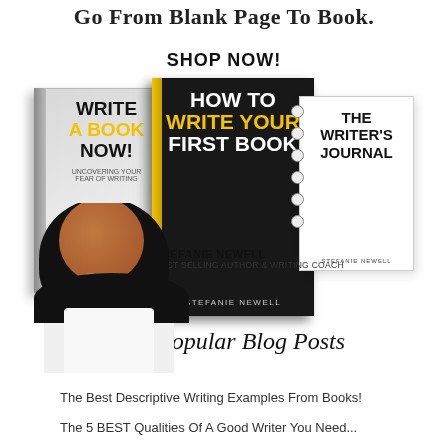Go From Blank Page To Book.
SHOP NOW!
[Figure (illustration): Composite image showing three books: 'Write A Book Now!', 'How To Write Your First Book' by Stefanie Newell, and 'The Writer's Journal' by Stefanie Newell. A smiling woman is shown in the foreground.]
STEFANIE NEWELL
BEST SELLING AUTHOR & WRITING COACH
Most Popular Blog Posts
The Best Descriptive Writing Examples From Books!
The 5 BEST Qualities Of A Good Writer You Need...